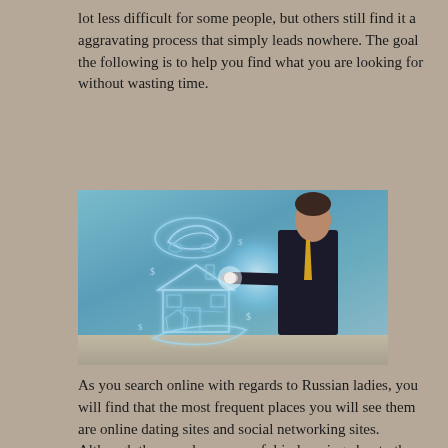lot less difficult for some people, but others still find it a aggravating process that simply leads nowhere. The goal the following is to help you find what you are looking for without wasting time.
[Figure (photo): A man in a dark suit and yellow tie pointing at glowing holographic icons of a car, house, and boat/yacht against a teal/blue textured wall background]
As you search online with regards to Russian ladies, you will find that the most frequent places you will see them are online dating sites and social networking sites. Although they can be very useful in learning about other ladies experiences, they